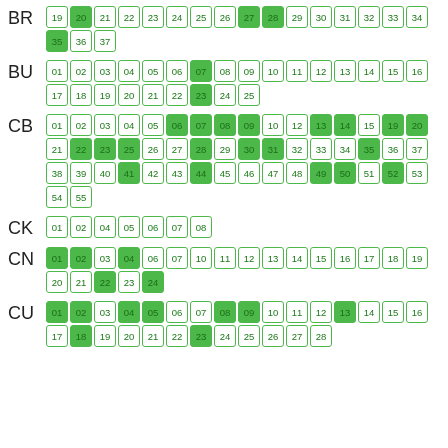BR: 19 20 21 22 23 24 25 26 27 28 29 30 31 32 33 34 35 36 37
BU: 01 02 03 04 05 06 07 08 09 10 11 12 13 14 15 16 17 18 19 20 21 22 23 24 25
CB: 01 02 03 04 05 06 07 08 09 10 12 13 14 15 19 20 21 22 23 25 26 27 28 29 30 31 32 33 34 35 36 37 38 39 40 41 42 43 44 45 46 47 48 49 50 51 52 53 54 55
CK: 01 02 04 05 06 07 08
CN: 01 02 03 04 06 07 10 11 12 13 14 15 16 17 18 19 20 21 22 23 24
CU: 01 02 03 04 05 06 07 08 09 10 11 12 13 14 15 16 17 18 19 20 21 22 23 24 25 26 27 28